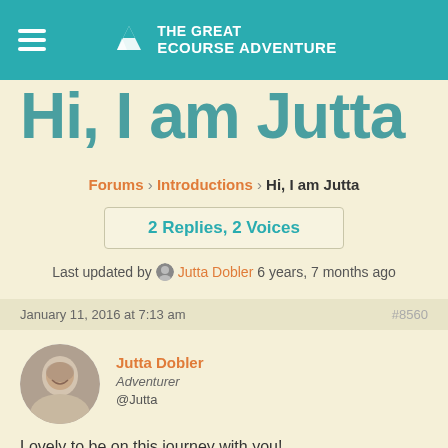THE GREAT eCOURSE ADVENTURE
Hi, I am Jutta
Forums › Introductions › Hi, I am Jutta
2 Replies, 2 Voices
Last updated by Jutta Dobler 6 years, 7 months ago
January 11, 2016 at 7:13 am  #8560
Jutta Dobler
Adventurer
@Jutta
Lovely to be on this journey with you!